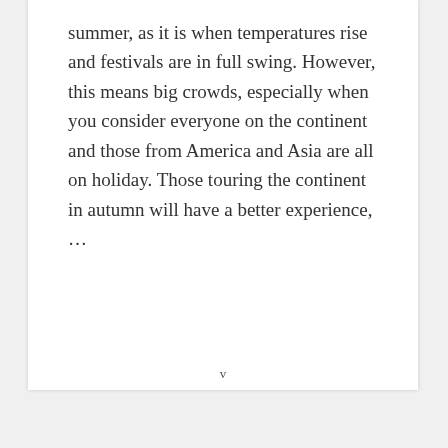summer, as it is when temperatures rise and festivals are in full swing. However, this means big crowds, especially when you consider everyone on the continent and those from America and Asia are all on holiday. Those touring the continent in autumn will have a better experience, …
v